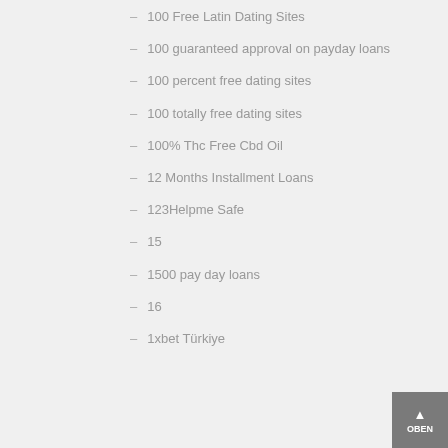– 100 Free Latin Dating Sites
– 100 guaranteed approval on payday loans
– 100 percent free dating sites
– 100 totally free dating sites
– 100% Thc Free Cbd Oil
– 12 Months Installment Loans
– 123Helpme Safe
– 15
– 1500 pay day loans
– 16
– 1xbet Türkiye